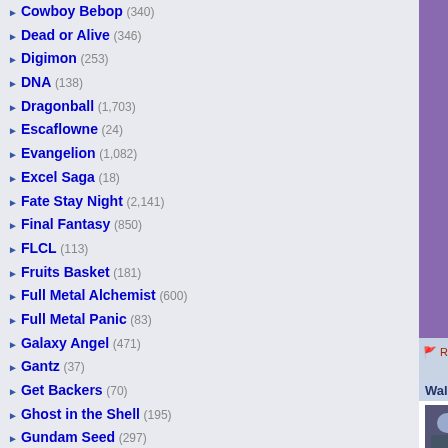Cowboy Bebop (340)
Dead or Alive (346)
Digimon (253)
DNA (138)
Dragonball (1,703)
Escaflowne (24)
Evangelion (1,082)
Excel Saga (18)
Fate Stay Night (2,141)
Final Fantasy (850)
FLCL (113)
Fruits Basket (181)
Full Metal Alchemist (600)
Full Metal Panic (83)
Galaxy Angel (471)
Gantz (37)
Get Backers (70)
Ghost in the Shell (195)
Gundam Seed (297)
Gundam Wing (285)
Gunslinger Girl (59)
Hack Sign (78)
Haibane Renmei (43)
Hamtaro (50)
Hello Kitty (299)
Hellsing (341)
Howls Moving Castle (60)
Hyper Police (9)
[Figure (illustration): Anime wallpaper showing a girl in red outfit with a pink rose, purple sparkly background]
Report This Wallpaper
Add To F...
Wallpaper Groups
Anime Manga World  26,909  201  12
Leave a comment...
This wallpaper has no comm...